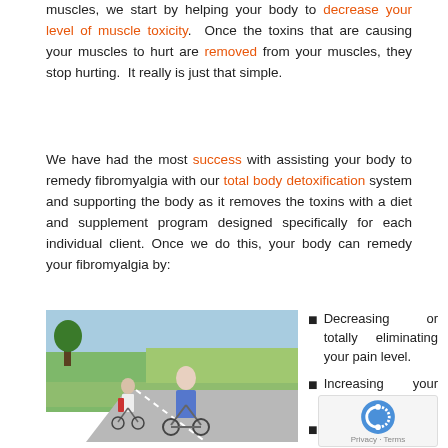muscles, we start by helping your body to decrease your level of muscle toxicity. Once the toxins that are causing your muscles to hurt are removed from your muscles, they stop hurting. It really is just that simple.
We have had the most success with assisting your body to remedy fibromyalgia with our total body detoxification system and supporting the body as it removes the toxins with a diet and supplement program designed specifically for each individual client. Once we do this, your body can remedy your fibromyalgia by:
[Figure (photo): Two people riding bicycles on a country road surrounded by green fields and trees. A woman in a blue hoodie is in the foreground and a man in red pants is behind her.]
Decreasing or totally eliminating your pain level.
Increasing your energy significantly.
Giving back your